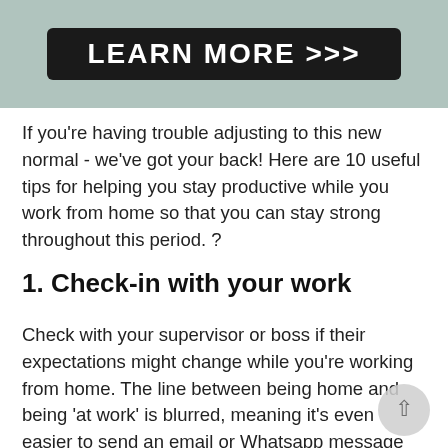[Figure (screenshot): Dark button with white bold text 'LEARN MORE >>>' on a teal/grey background, partially visible image behind.]
If you're having trouble adjusting to this new normal - we've got your back! Here are 10 useful tips for helping you stay productive while you work from home so that you can stay strong throughout this period. ?
1. Check-in with your work
Check with your supervisor or boss if their expectations might change while you're working from home. The line between being home and being 'at work' is blurred, meaning it's even easier to send an email or Whatsapp message outside of normal work hours. For others, having to take on childcare or eldercare duties may make keeping to